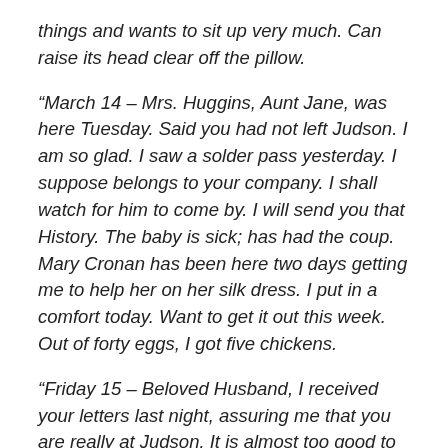things and wants to sit up very much. Can raise its head clear off the pillow.
“March 14 – Mrs. Huggins, Aunt Jane, was here Tuesday. Said you had not left Judson. I am so glad. I saw a solder pass yesterday. I suppose belongs to your company. I shall watch for him to come by. I will send you that History. The baby is sick; has had the coup. Mary Cronan has been here two days getting me to help her on her silk dress. I put in a comfort today. Want to get it out this week. Out of forty eggs, I got five chickens.
“Friday 15 – Beloved Husband, I received your letters last night, assuring me that you are really at Judson. It is almost too good to be true. I hasten now to send my letter. I did not know before where to send it, this and my former one convey some of the same ideas but I shall send it for I